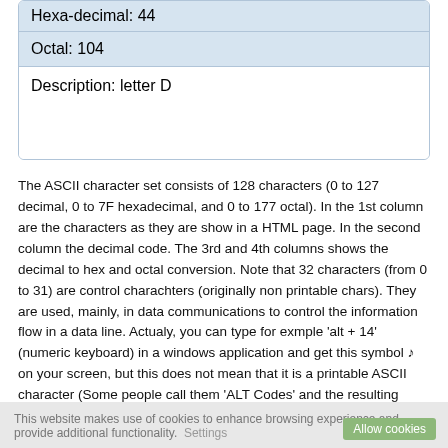| Hexa-decimal: 44 |
| Octal: 104 |
| Description: letter D |
The ASCII character set consists of 128 characters (0 to 127 decimal, 0 to 7F hexadecimal, and 0 to 177 octal). In the 1st column are the characters as they are show in a HTML page. In the second column the decimal code. The 3rd and 4th columns shows the decimal to hex and octal conversion. Note that 32 characters (from 0 to 31) are control charachters (originally non printable chars). They are used, mainly, in data communications to control the information flow in a data line. Actualy, you can type for exmple 'alt + 14' (numeric keyboard) in a windows application and get this symbol ♪ on your screen, but this does not mean that it is a printable ASCII character (Some people call them 'ALT Codes' and the resulting character dependes on your opersting system (windows, linux etc.).
This website makes use of cookies to enhance browsing experience and provide additional functionality. Settings